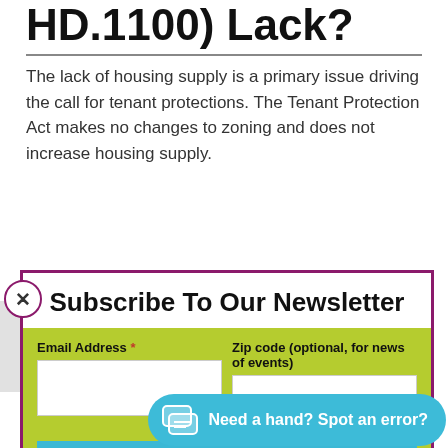HD.1100) Lack?
The lack of housing supply is a primary issue driving the call for tenant protections. The Tenant Protection Act makes no changes to zoning and does not increase housing supply.
[Figure (screenshot): Newsletter subscription modal with purple border, fields for Email Address and Zip code (optional, for news of events), and a cyan SUBSCRIBE button.]
experiences a market… it should be possible… shortfall, like unemp…
[Figure (screenshot): Blue chat support pill button reading 'Need a hand? Spot an error?' with a chat icon.]